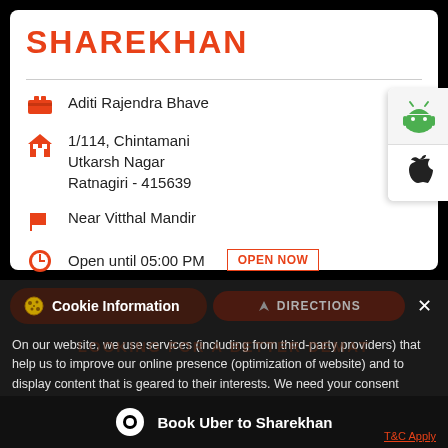SHAREKHAN
Aditi Rajendra Bhave
1/114, Chintamani Utkarsh Nagar Ratnagiri - 415639
Near Vitthal Mandir
Open until 05:00 PM  OPEN NOW
[Figure (logo): Android robot logo (green)]
[Figure (logo): Apple logo (black)]
Cookie Information
DIRECTIONS
On our website, we use services (including from third-party providers) that help us to improve our online presence (optimization of website) and to display content that is geared to their interests. We need your consent before being able to use these services.
Book Uber to Sharekhan
T&C Apply